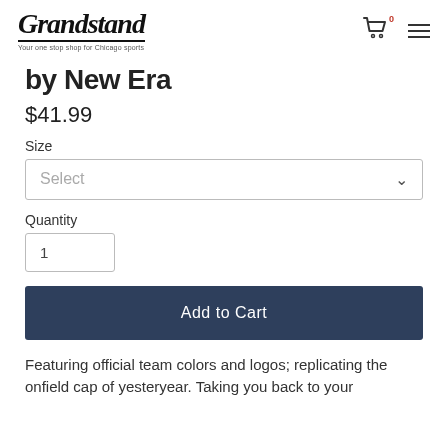Grandstand — Your one stop shop for Chicago sports
by New Era
$41.99
Size
Select
Quantity
1
Add to Cart
Featuring official team colors and logos; replicating the onfield cap of yesteryear. Taking you back to your